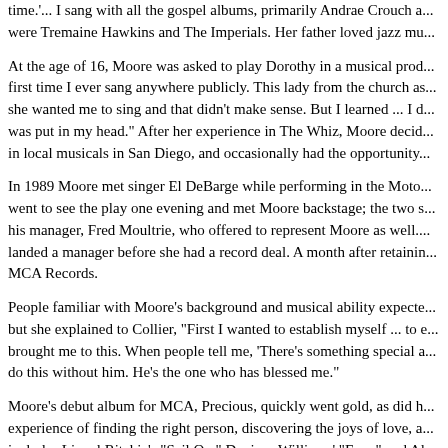time.'... I sang with all the gospel albums, primarily Andrae Crouch a... were Tremaine Hawkins and The Imperials. Her father loved jazz mu...
At the age of 16, Moore was asked to play Dorothy in a musical prod... first time I ever sang anywhere publicly. This lady from the church as... she wanted me to sing and that didn't make sense. But I learned ... I d... was put in my head." After her experience in The Whiz, Moore decid... in local musicals in San Diego, and occasionally had the opportunity...
In 1989 Moore met singer El DeBarge while performing in the Moto... went to see the play one evening and met Moore backstage; the two s... his manager, Fred Moultrie, who offered to represent Moore as well.... landed a manager before she had a record deal. A month after retainin... MCA Records.
People familiar with Moore's background and musical ability expecte... but she explained to Collier, "First I wanted to establish myself ... to e... brought me to this. When people tell me, 'There's something special a... do this without him. He's the one who has blessed me."
Moore's debut album for MCA, Precious, quickly went gold, as did h... experience of finding the right person, discovering the joys of love, a... includes Lionel Ritchie's "Sail On," Deniece Williams' "Free," and Al... inspiration for the romantic release was real life: she met and fell in l... event, and by 1997 the two had decided to marry.
Louil Silas Jr. launched a joint venture with MCA Records in Septem... the label's first artist. Silas told Billboard's David Nathan, "Chante ha...